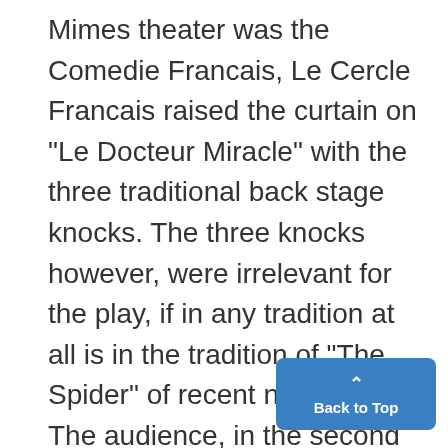Mimes theater was the Comedie Francais, Le Cercle Francais raised the curtain on "Le Docteur Miracle" with the three traditional back stage knocks. The three knocks however, were irrelevant for the play, if in any tradition at all is in the tradition of "The Spider" of recent notoriety. The audience, in the second scene of the second act, was drawn into the play, and by a skillful planting of professors and of the less dignified students a general chorus of bravos whoonees was started.